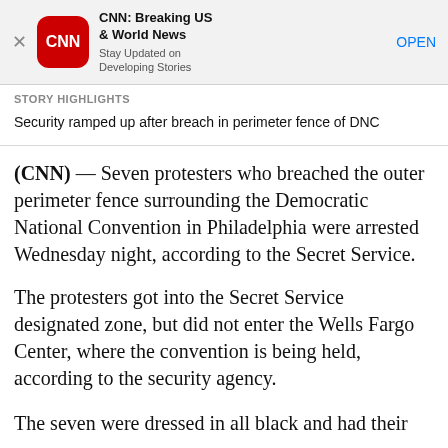[Figure (logo): CNN app banner with CNN red rounded square logo, app name 'CNN: Breaking US & World News', subtitle 'Stay Updated on Developing Stories', and an OPEN button. A close X is on the left.]
STORY HIGHLIGHTS
Security ramped up after breach in perimeter fence of DNC
(CNN) — Seven protesters who breached the outer perimeter fence surrounding the Democratic National Convention in Philadelphia were arrested Wednesday night, according to the Secret Service.
The protesters got into the Secret Service designated zone, but did not enter the Wells Fargo Center, where the convention is being held, according to the security agency.
The seven were dressed in all black and had their